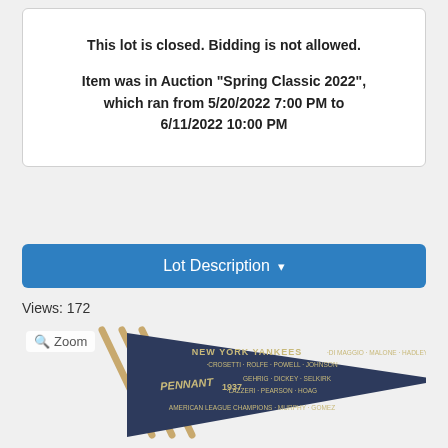This lot is closed. Bidding is not allowed.

Item was in Auction "Spring Classic 2022", which ran from 5/20/2022 7:00 PM to 6/11/2022 10:00 PM
Lot Description ▾
Views: 172
[Figure (photo): New York Yankees 1937 Pennant - navy blue felt pennant with text listing players: DI MAGGIO, MALONE, HADLEY, CROSETTI, ROLFE, POWELL, JOHNSON, GEHRIG, DICKEY, SELKIRK, LAZZERI, PEARSON, HOAG, AMERICAN LEAGUE CHAMPIONS, MURPHY, GOMEZ. Mounted on wooden sticks. Shows 'PENNANT 1937' in center.]